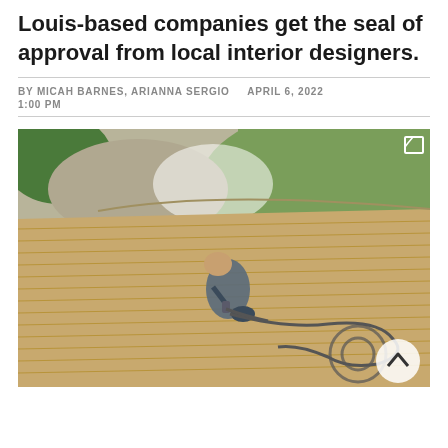Louis-based companies get the seal of approval from local interior designers.
BY MICAH BARNES, ARIANNA SERGIO    APRIL 6, 2022 1:00 PM
[Figure (photo): Aerial view of a person kneeling on a wooden deck, using a pressure washer with a hose coiled nearby, next to a green lawn and gravel garden bed.]